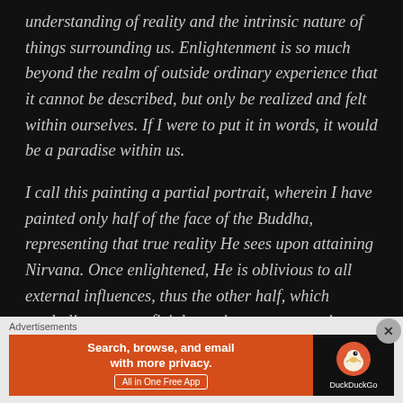understanding of reality and the intrinsic nature of things surrounding us. Enlightenment is so much beyond the realm of outside ordinary experience that it cannot be described, but only be realized and felt within ourselves. If I were to put it in words, it would be a paradise within us.
I call this painting a partial portrait, wherein I have painted only half of the face of the Buddha, representing that true reality He sees upon attaining Nirvana. Once enlightened, He is oblivious to all external influences, thus the other half, which symbolizes a superficial exterior, ceases to exist.
Advertisements
[Figure (other): DuckDuckGo advertisement banner: orange section with text 'Search, browse, and email with more privacy. All in One Free App' and dark section with DuckDuckGo duck logo and brand name.]